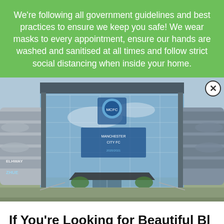We're following all government guidelines and best practices to ensure we keep you safe! We wear masks to every appointment, ensure our hands are washed and sanitised at all times and follow strict social distancing when inside your home.
[Figure (photo): Exterior photograph of a modern glass-fronted building with blue and grey architectural elements, curved multi-storey sections on both sides, and a Manchester City crest/logo visible on the glass facade. There is a canopy entrance and some greenery at the base.]
If You're Looking for Beautiful Bl… Fitted in Manchester, You've Come to…